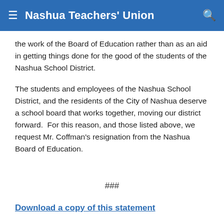Nashua Teachers' Union
the work of the Board of Education rather than as an aid in getting things done for the good of the students of the Nashua School District.
The students and employees of the Nashua School District, and the residents of the City of Nashua deserve a school board that works together, moving our district forward.  For this reason, and those listed above, we request Mr. Coffman's resignation from the Nashua Board of Education.
###
Download a copy of this statement